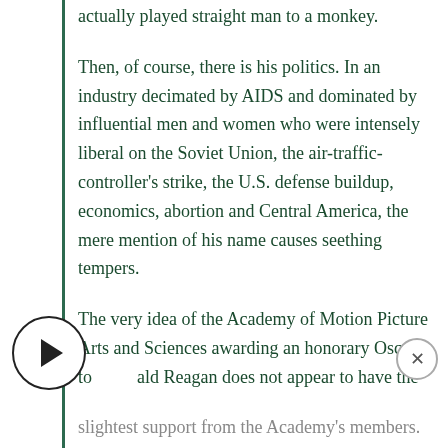actually played straight man to a monkey.

Then, of course, there is his politics. In an industry decimated by AIDS and dominated by influential men and women who were intensely liberal on the Soviet Union, the air-traffic-controller's strike, the U.S. defense buildup, economics, abortion and Central America, the mere mention of his name causes seething tempers.

The very idea of the Academy of Motion Picture Arts and Sciences awarding an honorary Oscar to ald Reagan does not appear to have the slightest support from the Academy's members.